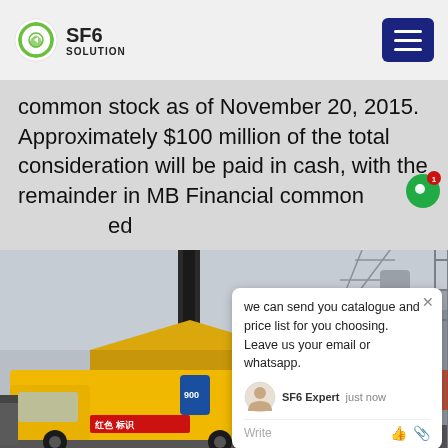SF6 SOLUTION
common stock as of November 20, 2015. Approximately $100 million of the total consideration will be paid in cash, with the remainder in MB Financial common [stock valued at] ed
[Figure (photo): Yellow service truck/van parked at an electrical substation with large pipes and transmission towers in the background]
we can send you catalogue and price list for you choosing. Leave us your email or whatsapp.
SF6 Expert   just now
Write